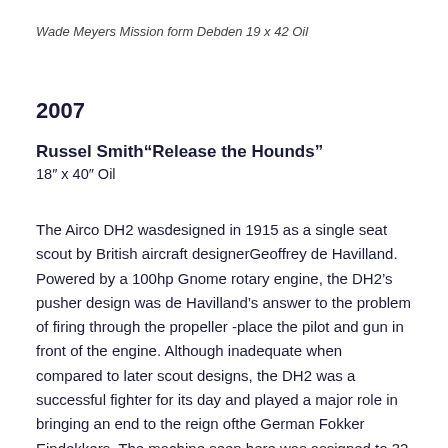Wade Meyers Mission form Debden 19 x 42 Oil
2007
Russel Smith"Release the Hounds"
18" x 40" Oil
The Airco DH2 wasdesigned in 1915 as a single seat scout by British aircraft designerGeoffrey de Havilland. Powered by a 100hp Gnome rotary engine, the DH2's pusher design was de Havilland's answer to the problem of firing through the propeller -place the pilot and gun in front of the engine. Although inadequate when compared to later scout designs, the DH2 was a successful fighter for its day and played a major role in bringing an end to the reign ofthe German Fokker Eindekkers. The machine seen here was assigned to 32 Sq based at Vert Galand, one of the best known British aerodromes on the